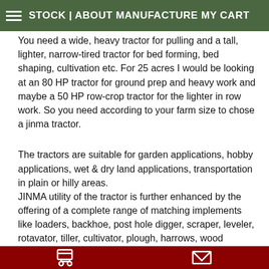STOCK | ABOUT MANUFACTURE MY CART
You need a wide, heavy tractor for pulling and a tall, lighter, narrow-tired tractor for bed forming, bed shaping, cultivation etc. For 25 acres I would be looking at an 80 HP tractor for ground prep and heavy work and maybe a 50 HP row-crop tractor for the lighter in row work. So you need according to your farm size to chose a jinma tractor.
The tractors are suitable for garden applications, hobby applications, wet & dry land applications, transportation in plain or hilly areas.
JINMA utility of the tractor is further enhanced by the offering of a complete range of matching implements like loaders, backhoe, post hole digger, scraper, leveler, rotavator, tiller, cultivator, plough, harrows, wood chipper, mower, snow
Blower etc.
JINMA offers the backed up by trained manpower, spares parts & service supports at the nearest distribution point in all the countries.
The JINMA brand of tractors are being built to give a